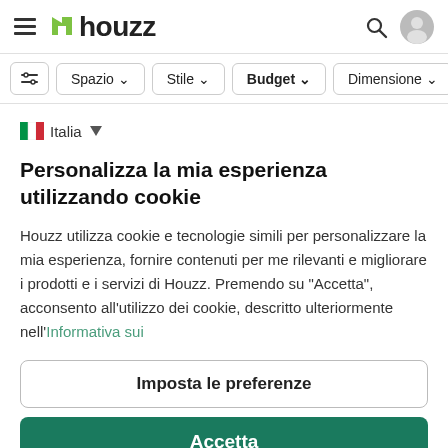Houzz navigation header with hamburger menu, houzz logo, search icon, user icon
Spazio | Stile | Budget | Dimensione — filter bar
Italia
Personalizza la mia esperienza utilizzando cookie
Houzz utilizza cookie e tecnologie simili per personalizzare la mia esperienza, fornire contenuti per me rilevanti e migliorare i prodotti e i servizi di Houzz. Premendo su "Accetta", acconsento all'utilizzo dei cookie, descritto ulteriormente nell'Informativa sui
Imposta le preferenze
Accetta